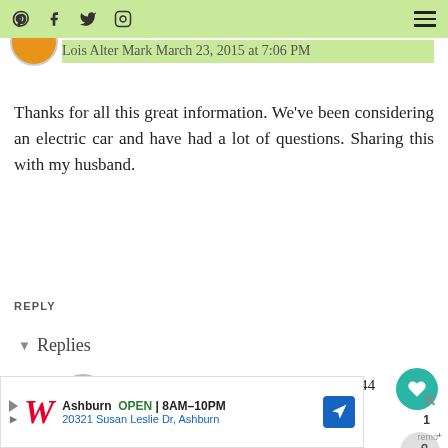Lois Alter Mark March 23, 2015 at 7:06 PM
Thanks for all this great information. We've been considering an electric car and have had a lot of questions. Sharing this with my husband.
REPLY
▾ Replies
Joe Bonham ✓ March 23, 2015 at 11:44 PM
I'm willing to bet that your
[Figure (other): Advertisement banner for Walgreens: Ashburn OPEN 8AM-10PM, 20321 Susan Leslie Dr, Ashburn]